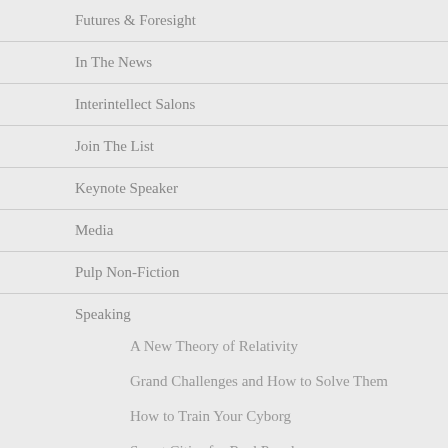Futures & Foresight
In The News
Interintellect Salons
Join The List
Keynote Speaker
Media
Pulp Non-Fiction
Speaking
A New Theory of Relativity
Grand Challenges and How to Solve Them
How to Train Your Cyborg
Smart Cities for Real People
Social Currency